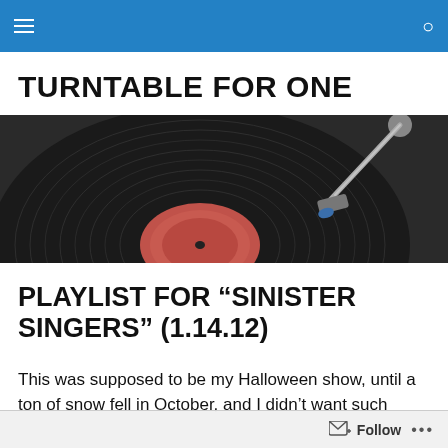Navigation bar with hamburger menu and search icon
TURNTABLE FOR ONE
[Figure (photo): Close-up photograph of a vinyl record on a turntable with a tonearm/needle visible, dark record with a pink/red label center]
PLAYLIST FOR “SINISTER SINGERS” (1.14.12)
This was supposed to be my Halloween show, until a ton of snow fell in October, and I didn’t want such
Follow •••